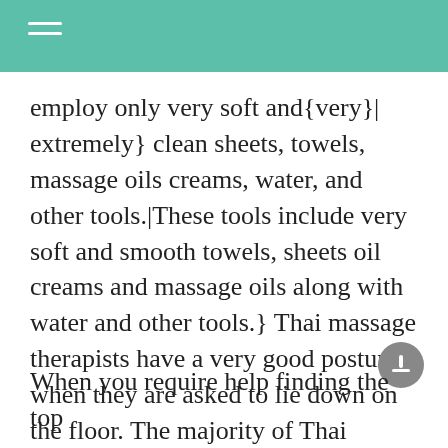employ only very soft and{very}| extremely} clean sheets, towels, massage oils creams, water, and other tools.|These tools include very soft and smooth towels, sheets oil creams and massage oils along with water and other tools.} Thai massage therapists have a very good posture when they are asked to lie down on the floor. The majority of Thai massage therapists have to maintain the position of a standing while treating clients. Contact a Thai massage therapist if want to enjoy the benefits of this technique.
When you require help finding the top